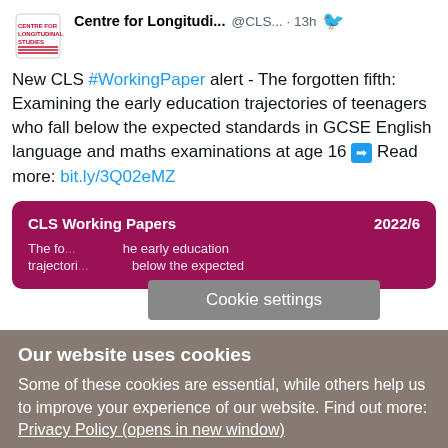[Figure (screenshot): Twitter/social media post from Centre for Longitudinal Studies (@CLS...) posted 13h ago, with CLS logo. Tweet reads: New CLS #WorkingPaper alert - The forgotten fifth: Examining the early education trajectories of teenagers who fall below the expected standards in GCSE English language and maths examinations at age 16 ➡ Read more: bit.ly/3Q02eMZ. Below the tweet is a CLS Working Papers 2022/6 card with partial text visible.]
Cookie settings
Our website uses cookies
Some of these cookies are essential, while others help us to improve your experience of our website. Find out more:
Privacy Policy (opens in new window)
Accept all cookies
Manage cookies